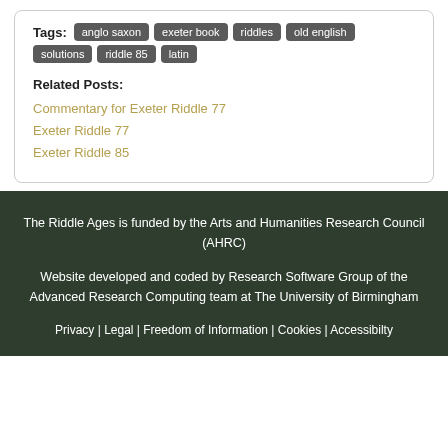Tags: anglo saxon | exeter book | riddles | old english | solutions | riddle 85 | latin
Related Posts:
Commentary for Exeter Riddle 77
Exeter Riddle 77
Exeter Riddle 85
The Riddle Ages is funded by the Arts and Humanities Research Council (AHRC)

Website developed and coded by Research Software Group of the Advanced Research Computing team at The University of Birmingham

Privacy | Legal | Freedom of Information | Cookies | Accessibilty